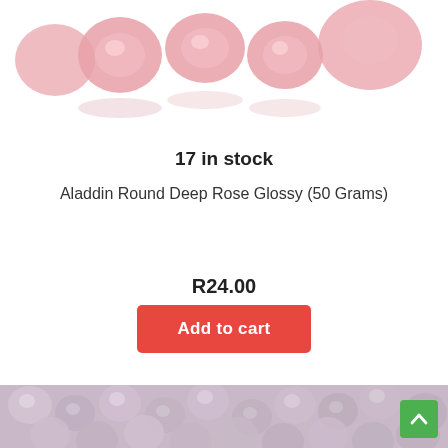[Figure (photo): Close-up photo of small round deep rose glossy pink/red beads on a white background, viewed from above]
17 in stock
Aladdin Round Deep Rose Glossy (50 Grams)
R24.00
Add to cart
[Figure (photo): Close-up macro photo of small round lavender/mauve glossy beads piled together]